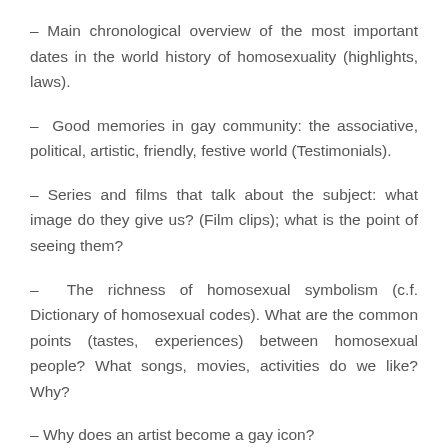– Main chronological overview of the most important dates in the world history of homosexuality (highlights, laws).
– Good memories in gay community: the associative, political, artistic, friendly, festive world (Testimonials).
– Series and films that talk about the subject: what image do they give us? (Film clips); what is the point of seeing them?
– The richness of homosexual symbolism (c.f. Dictionary of homosexual codes). What are the common points (tastes, experiences) between homosexual people? What songs, movies, activities do we like? Why?
– Why does an artist become a gay icon?